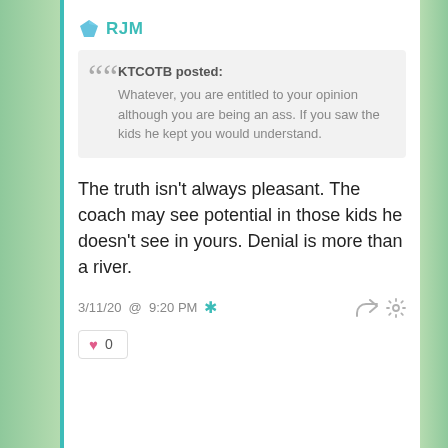RJM
KTCOTB posted: Whatever, you are entitled to your opinion although you are being an ass. If you saw the kids he kept you would understand.
The truth isn't always pleasant. The coach may see potential in those kids he doesn't see in yours. Denial is more than a river.
3/11/20 @ 9:20 PM
0